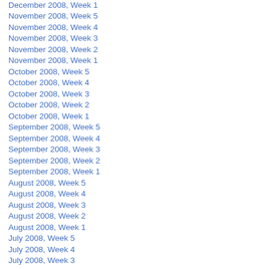December 2008, Week 1
November 2008, Week 5
November 2008, Week 4
November 2008, Week 3
November 2008, Week 2
November 2008, Week 1
October 2008, Week 5
October 2008, Week 4
October 2008, Week 3
October 2008, Week 2
October 2008, Week 1
September 2008, Week 5
September 2008, Week 4
September 2008, Week 3
September 2008, Week 2
September 2008, Week 1
August 2008, Week 5
August 2008, Week 4
August 2008, Week 3
August 2008, Week 2
August 2008, Week 1
July 2008, Week 5
July 2008, Week 4
July 2008, Week 3
July 2008, Week 2
July 2008, Week 1
June 2008, Week 5
June 2008, Week 4
June 2008, Week 3
June 2008, Week 2